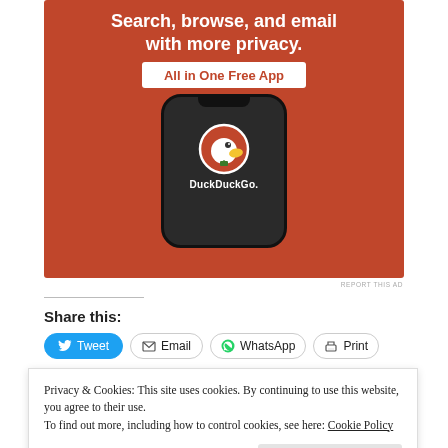[Figure (illustration): DuckDuckGo advertisement banner showing the text 'Search, browse, and email with more privacy. All in One Free App' on an orange background with a smartphone showing the DuckDuckGo duck logo and app name.]
REPORT THIS AD
Share this:
Tweet  Email  WhatsApp  Print
Privacy & Cookies: This site uses cookies. By continuing to use this website, you agree to their use.
To find out more, including how to control cookies, see here: Cookie Policy